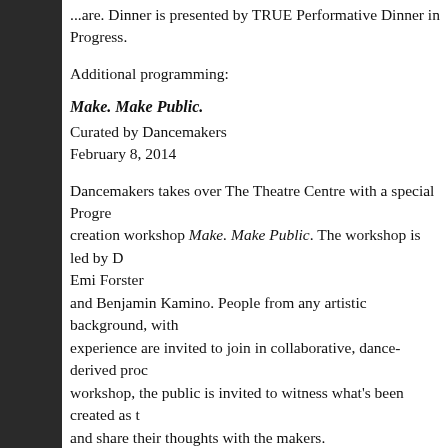...are. Dinner is presented by TRUE Performative Dinner in Progress.
Additional programming:
Make. Make Public.
Curated by Dancemakers
February 8, 2014
Dancemakers takes over The Theatre Centre with a special Progress creation workshop Make. Make Public. The workshop is led by D Emi Forster and Benjamin Kamino. People from any artistic background, with experience are invited to join in collaborative, dance-derived proc workshop, the public is invited to witness what's been created as t and share their thoughts with the makers.
Also during the festival, Dancemakers will curate 'Dance as Meta Lens', a conversation featuring Progress artists Aharona Israel and with Dancemakers' resident Zoja Smutny.
Dramatic Action – The Republic of Inclusion
Curated by Alex Bulmer and Sarah Garton Stanley
Part of The Collaborations at Canada's National Arts Centre D...